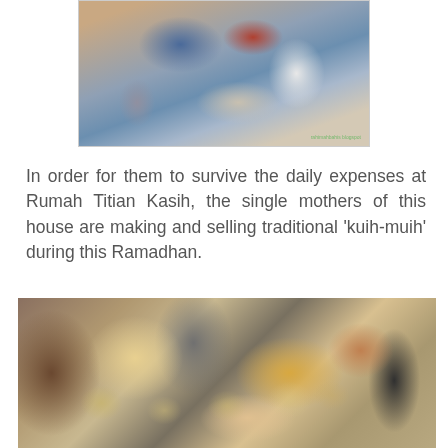[Figure (photo): Overhead view of people with bags and items on a tiled floor]
In order for them to survive the daily expenses at Rumah Titian Kasih, the single mothers of this house are making and selling traditional ‘kuih-muih’ during this Ramadhan.
[Figure (photo): Table with containers of traditional kuih-muih snacks and other items on shelves]